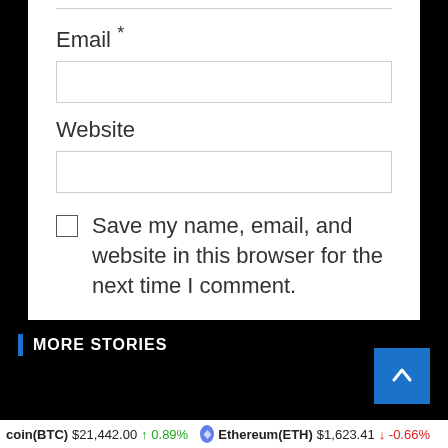Email *
Website
Save my name, email, and website in this browser for the next time I comment.
Post Comment
MORE STORIES
[Figure (photo): Partial photo of a person in a light-colored shirt, dimly lit]
coin(BTC) $21,442.00 ↑ 0.89% Ethereum(ETH) $1,623.41 ↓ -0.66%